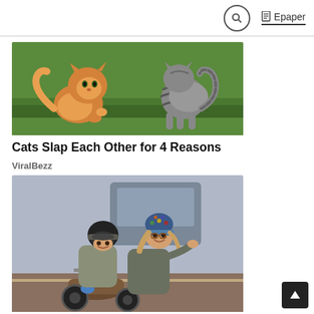Search | Epaper
[Figure (photo): Two cats facing each other on grass — an orange fluffy cat on the left and a striped tabby cat on the right, appearing to confront or slap each other.]
Cats Slap Each Other for 4 Reasons
ViralBezz
[Figure (photo): Two people riding a scooter/moped — one wearing a black helmet and the other wearing a colorful knit hat, both smiling, from what appears to be a movie scene (Dumb and Dumber To).]